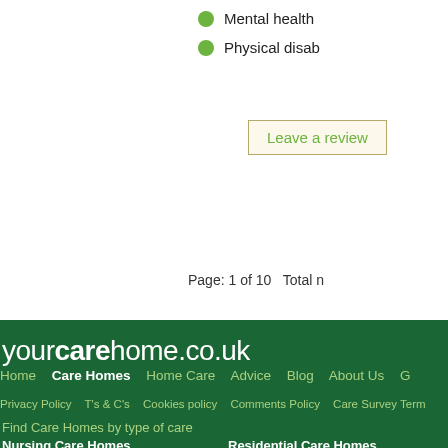Mental health
Physical disab
Leave a review
Page: 1 of 10    Total n
yourcarehome.co.uk
Home    Care Homes    Home Care    Advice    Blog    About Us    G
Privacy Policy    T's & C's    Cookies policy    Comments Policy    Care Survey Term
Find Care Homes by type of care
Nursing Care Homes
Alzheimer's and Dementia Care Homes
Day Care Homes
Residential Care Homes
Respite Care Homes
Physical Disability Care